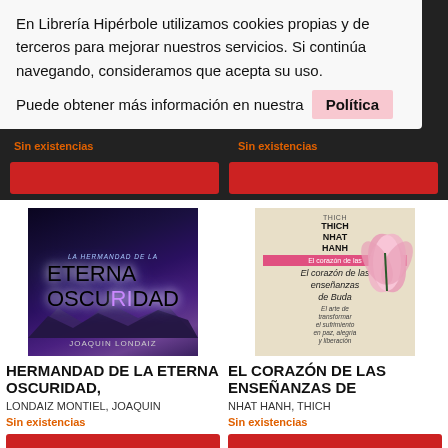En Librería Hipérbole utilizamos cookies propias y de terceros para mejorar nuestros servicios. Si continúa navegando, consideramos que acepta su uso.
Puede obtener más información en nuestra Política
Sin existencias
Sin existencias
[Figure (photo): Book cover: Hermandad de la Eterna Oscuridad, dark fantasy cover with nebula/moon and mountains, author Joaquin Londaiz]
HERMANDAD DE LA ETERNA OSCURIDAD,
LONDAIZ MONTIEL, JOAQUIN
Sin existencias
[Figure (photo): Book cover: El corazón de las enseñanzas de Buda by Thich Nhat Hanh, beige cover with pink lotus flower]
EL CORAZÓN DE LAS ENSEÑANZAS DE
NHAT HANH, THICH
Sin existencias